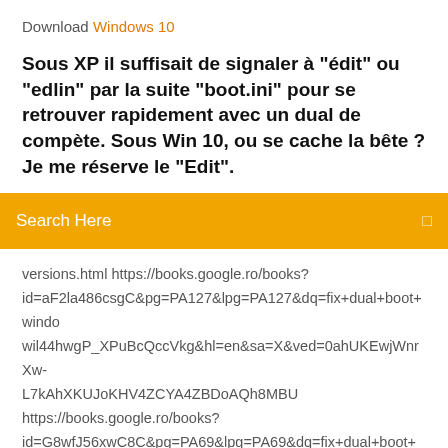Download Windows 10
Sous XP il suffisait de signaler à "édit" ou "edlin" par la suite "boot.ini" pour se retrouver rapidement avec un dual de compète. Sous Win 10, ou se cache la bête ? Je me réserve le "Edit".
Search Here
versions.html https://books.google.ro/books?id=aF2la486csgC&pg=PA127&lpg=PA127&dq=fix+dual+boot+windo wil44hwgP_XPuBcQccVkg&hl=en&sa=X&ved=0ahUKEwjWnrXw-L7kAhXKUJoKHV4ZCYA4ZBDoAQh8MBU https://books.google.ro/books?id=G8wfJ56xwC8C&pg=PA69&lpg=PA69&dq=fix+dual+boot+window L7kAhXKUJoKHV4ZCYA4ZBDoAQh_MBY https://www.howtoforge.com/dual_boot_windows_xp_vista_ubuntu_ https://www.ghacks.net/2011/06/13/fix-bootloaders-after-dual-